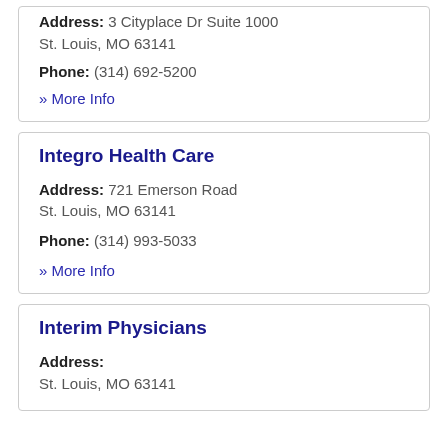Address: 3 Cityplace Dr Suite 1000
St. Louis, MO 63141
Phone: (314) 692-5200
» More Info
Integro Health Care
Address: 721 Emerson Road
St. Louis, MO 63141
Phone: (314) 993-5033
» More Info
Interim Physicians
Address:
St. Louis, MO 63141